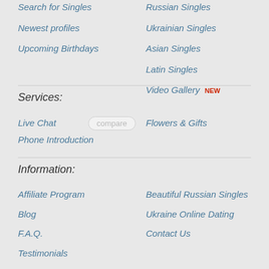Search for Singles
Russian Singles
Newest profiles
Ukrainian Singles
Upcoming Birthdays
Asian Singles
Latin Singles
Video Gallery NEW
Services:
Live Chat
Flowers & Gifts
Phone Introduction
Information:
Affiliate Program
Beautiful Russian Singles
Blog
Ukraine Online Dating
F.A.Q.
Contact Us
Testimonials
About Us
Antiscam Policy